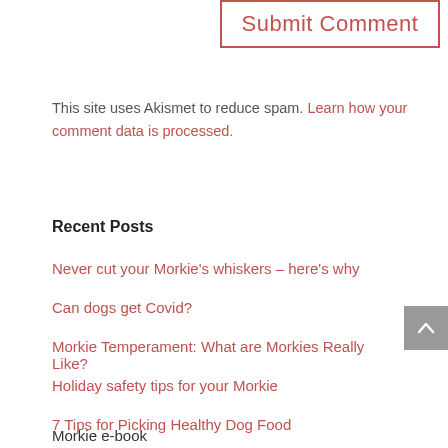[Figure (other): Submit Comment button with red border]
This site uses Akismet to reduce spam. Learn how your comment data is processed.
Recent Posts
Never cut your Morkie's whiskers – here's why
Can dogs get Covid?
Morkie Temperament: What are Morkies Really Like?
Holiday safety tips for your Morkie
7 Tips for Picking Healthy Dog Food
Morkie e-book